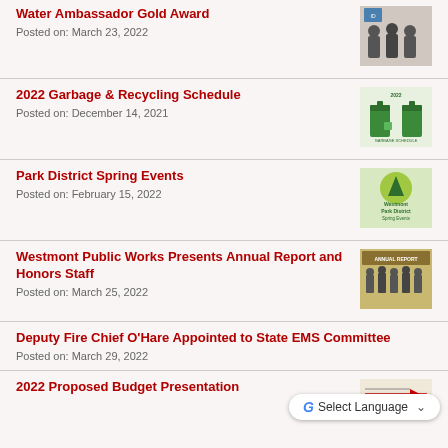Water Ambassador Gold Award
Posted on: March 23, 2022
[Figure (photo): Group photo of people standing together]
2022 Garbage & Recycling Schedule
Posted on: December 14, 2021
[Figure (photo): Garbage bins illustration for 2022 schedule]
Park District Spring Events
Posted on: February 15, 2022
[Figure (photo): Westmont Park District Spring Events flyer]
Westmont Public Works Presents Annual Report and Honors Staff
Posted on: March 25, 2022
[Figure (photo): Annual report presentation photo]
Deputy Fire Chief O'Hare Appointed to State EMS Committee
Posted on: March 29, 2022
2022 Proposed Budget Presentation